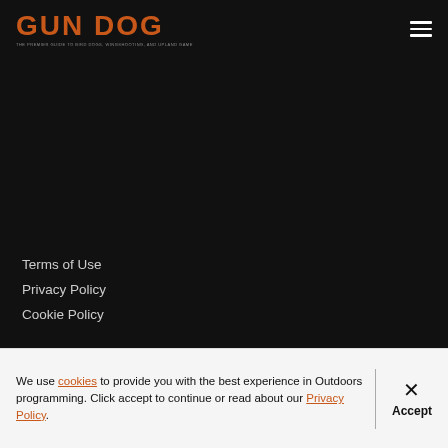GUN DOG
[Figure (other): Dark background main content area with a horizontal divider line and two small dots]
Terms of Use
Privacy Policy
Cookie Policy
We use cookies to provide you with the best experience in Outdoors programming. Click accept to continue or read about our Privacy Policy.